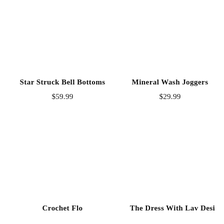Star Struck Bell Bottoms
$59.99
Mineral Wash Joggers
$29.99
Crochet Flo...
The Dress With Lav Desi...